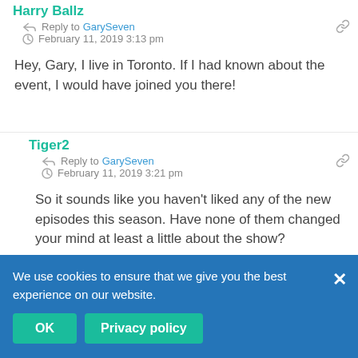Harry Ballz
Reply to GarySeven
February 11, 2019 3:13 pm
Hey, Gary, I live in Toronto. If I had known about the event, I would have joined you there!
Tiger2
Reply to GarySeven
February 11, 2019 3:21 pm
So it sounds like you haven't liked any of the new episodes this season. Have none of them changed your mind at least a little about the show?
GarySeven
Reply to Tiger2
February 11, 2019 4:34 pm
improvement over ... you are right that progress sho... encouraged. In S1 The Discovery was a place I would never want to
We use cookies to ensure that we give you the best experience on our website.